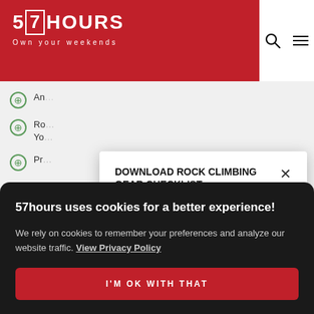57HOURS — Own your weekends
[Figure (screenshot): 57hours website header with red background, logo showing '5 [box]7 HOURS' and tagline 'Own your weekends', search and hamburger menu icons on the right]
DOWNLOAD ROCK CLIMBING GEAR CHECKLIST
[Figure (photo): Rock climber photo in the download modal]
57hours uses cookies for a better experience!
We rely on cookies to remember your preferences and analyze our website traffic. View Privacy Policy
I'M OK WITH THAT